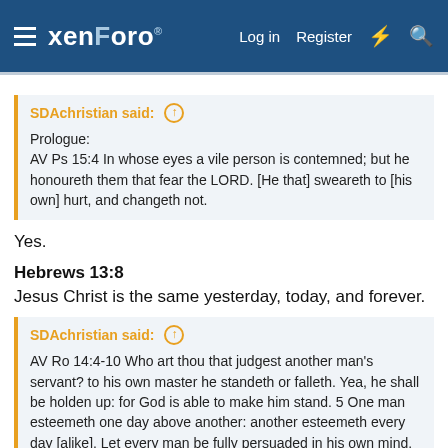xenForo  Log in  Register
SDAchristian said: ↑
Prologue:
AV Ps 15:4 In whose eyes a vile person is contemned; but he honoureth them that fear the LORD. [He that] sweareth to [his own] hurt, and changeth not.
Yes.
Hebrews 13:8
Jesus Christ is the same yesterday, today, and forever.
SDAchristian said: ↑
AV Ro 14:4-10 Who art thou that judgest another man's servant? to his own master he standeth or falleth. Yea, he shall be holden up: for God is able to make him stand. 5 One man esteemeth one day above another: another esteemeth every day [alike]. Let every man be fully persuaded in his own mind. 6 He that regardeth the day, regardeth [it] unto the Lord; and he that regardeth not the day, to the Lord he doth not regard [it]. He that eateth, eateth to the Lord, for he giveth God